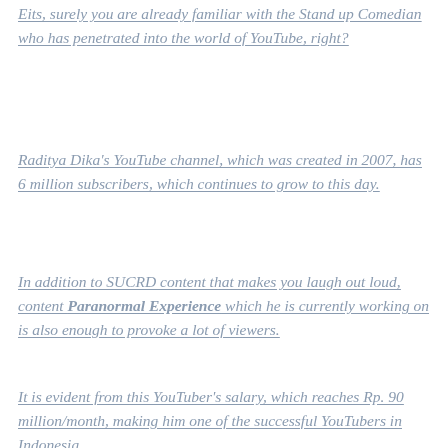Eits, surely you are already familiar with the Stand up Comedian who has penetrated into the world of YouTube, right?
Raditya Dika's YouTube channel, which was created in 2007, has 6 million subscribers, which continues to grow to this day.
In addition to SUCRD content that makes you laugh out loud, content Paranormal Experience which he is currently working on is also enough to provoke a lot of viewers.
It is evident from this YouTuber's salary, which reaches Rp. 90 million/month, making him one of the successful YouTubers in Indonesia.